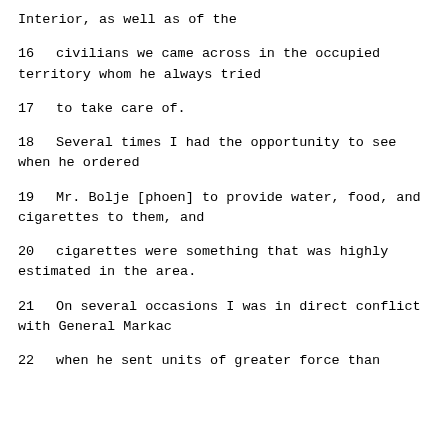Interior, as well as of the
16     civilians we came across in the occupied territory whom he always tried
17     to take care of.
18          Several times I had the opportunity to see when he ordered
19     Mr. Bolje [phoen] to provide water, food, and cigarettes to them, and
20     cigarettes were something that was highly estimated in the area.
21          On several occasions I was in direct conflict with General Markac
22     when he sent units of greater force than